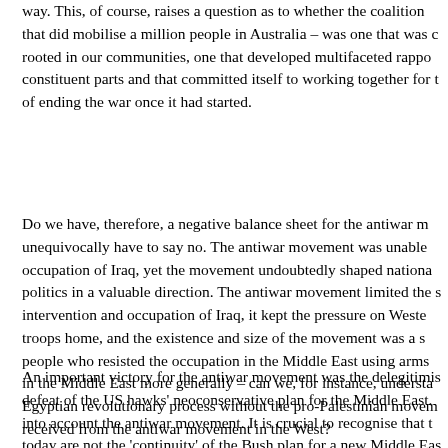way. This, of course, raises a question as to whether the coalition that did mobilise a million people in Australia – was one that was rooted in our communities, one that developed multifaceted rapport constituent parts and that committed itself to working together for of ending the war once it had started.
Do we have, therefore, a negative balance sheet for the antiwar m unequivocally have to say no. The antiwar movement was unable occupation of Iraq, yet the movement undoubtedly shaped nationa politics in a valuable direction. The antiwar movement limited the s intervention and occupation of Iraq, it kept the pressure on Wester troops home, and the existence and size of the movement was a s people who resisted the occupation in the Middle East using arms in the Middle East more generally – can we, for instance, understa Egyptian revolutionary process without the pro-Palestinian movem received from the antiwar movement in the West?
An important victory for the antiwar movement was the delegitimis defeat of the US hawks' neoconservative plan for the Middle East. into account the antiwar movement. It is crucial to recognise that t today are not the 'continuity' of the Bush plan for a new Middle Eas reassert an imperialist hegemony, but in a drastically different env